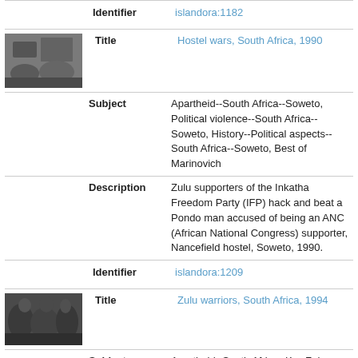| Field | Value |
| --- | --- |
| Identifier | islandora:1182 |
| Title | Hostel wars, South Africa, 1990 |
| Subject | Apartheid--South Africa--Soweto, Political violence--South Africa--Soweto, History--Political aspects--South Africa--Soweto, Best of Marinovich |
| Description | Zulu supporters of the Inkatha Freedom Party (IFP) hack and beat a Pondo man accused of being an ANC (African National Congress) supporter, Nancefield hostel, Soweto, 1990. |
| Identifier | islandora:1209 |
| Title | Zulu warriors, South Africa, 1994 |
| Subject | Apartheid--South Africa--KwaZulu- |